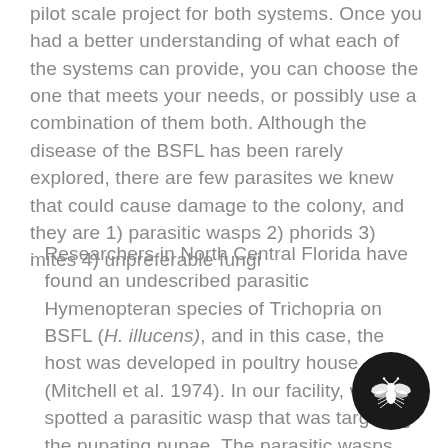pilot scale project for both systems. Once you had a better understanding of what each of the systems can provide, you can choose the one that meets your needs, or possibly use a combination of them both. Although the disease of the BSFL has been rarely explored, there are few parasites we knew that could cause damage to the colony, and they are 1) parasitic wasps 2) phorids 3) mites 4) unpreferable fungi
Researchers in North Central Florida have found an undescribed parasitic Hymenopteran species of Trichopria on BSFL (H. illucens), and in this case, the host was developed in poultry house (Mitchell et al. 1974). In our facility, we have spotted a parasitic wasp that was targeting the pupating pupae. The parasitic wasps usually occur in large numbers and could damage the pupate emergence rate. Common treatments include sticky traps and preventative procedures.
[Figure (illustration): A circular black badge/icon containing a white stylized fly (housefly) silhouette, positioned in the bottom-right corner of the page]